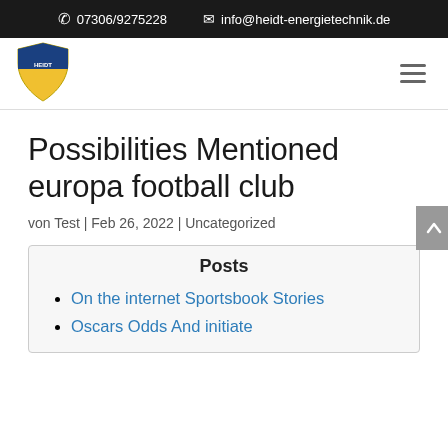07306/9275228   info@heidt-energietechnik.de
[Figure (logo): Heidt Energietechnik logo: yellow and blue shield with plant/sun motif]
Possibilities Mentioned europa football club
von Test | Feb 26, 2022 | Uncategorized
Posts
On the internet Sportsbook Stories
Oscars Odds And initiate